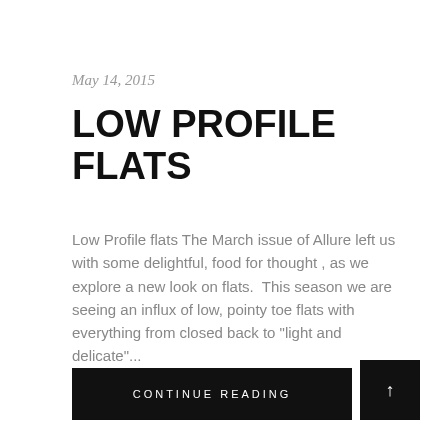May 14, 2015
LOW PROFILE FLATS
Low Profile flats The March issue of Allure left us with some delightful, food for thought , as we explore a new look on flats.  This season we are seeing an influx of low, pointy toe flats with everything from closed back to "light and delicate"...
CONTINUE READING